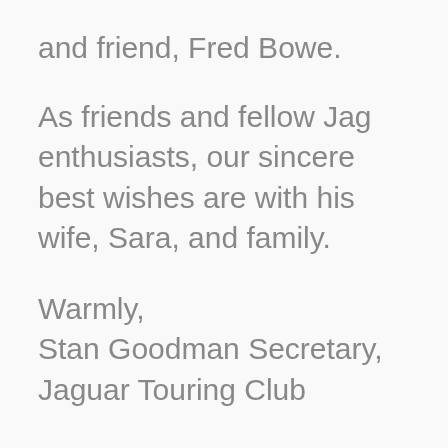and friend, Fred Bowe.
As friends and fellow Jag enthusiasts, our sincere best wishes are with his wife, Sara, and family.
Warmly,
Stan Goodman Secretary,
Jaguar Touring Club